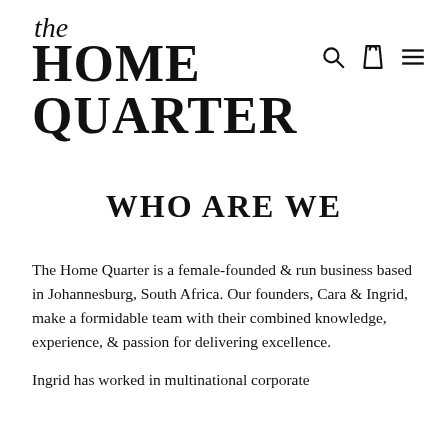The Home Quarter
WHO ARE WE
The Home Quarter is a female-founded & run business based in Johannesburg, South Africa. Our founders, Cara & Ingrid, make a formidable team with their combined knowledge, experience, & passion for delivering excellence.
Ingrid has worked in multinational corporate